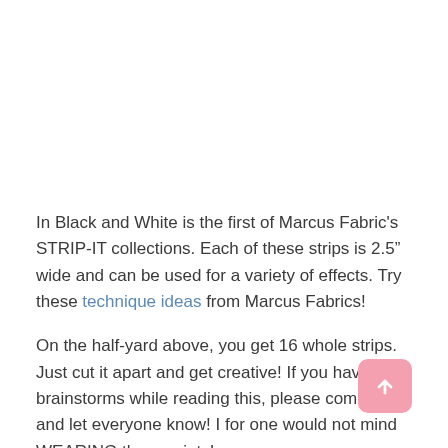In Black and White is the first of Marcus Fabric's STRIP-IT collections. Each of these strips is 2.5" wide and can be used for a variety of effects. Try these technique ideas from Marcus Fabrics!
On the half-yard above, you get 16 whole strips. Just cut it apart and get creative! If you have any brainstorms while reading this, please comment and let everyone know! I for one would not mind WEARING these prints!
Here's another idea from the Marcus Fabrics Blog: It's perfect